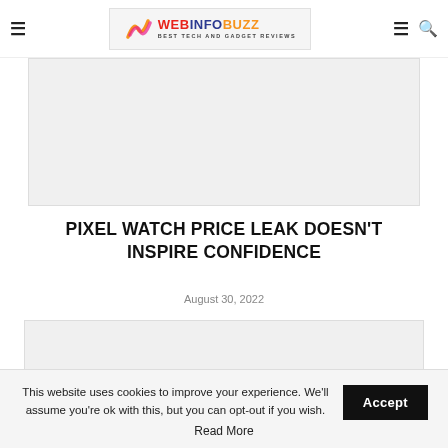WEBINFOBUZZ — BEST TECH AND GADGET REVIEWS
[Figure (other): Gray advertisement banner placeholder (top)]
PIXEL WATCH PRICE LEAK DOESN'T INSPIRE CONFIDENCE
August 30, 2022
[Figure (other): Gray advertisement banner placeholder (bottom)]
This website uses cookies to improve your experience. We'll assume you're ok with this, but you can opt-out if you wish.
Read More